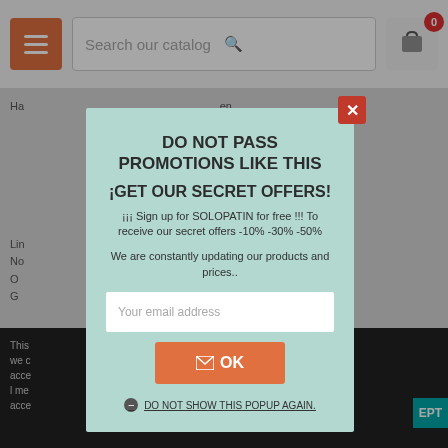[Figure (screenshot): Background e-commerce website with header containing hamburger menu, search bar, and cart button with badge showing 0]
DO NOT PASS PROMOTIONS LIKE THIS
¡GET OUR SECRET OFFERS!
¡¡¡ Sign up for SOLOPATIN for free !!! To receive our secret offers -10% -30% -50%
We are constantly updating our products and prices..
Your email address
OK
DO NOT SHOW THIS POPUP AGAIN.